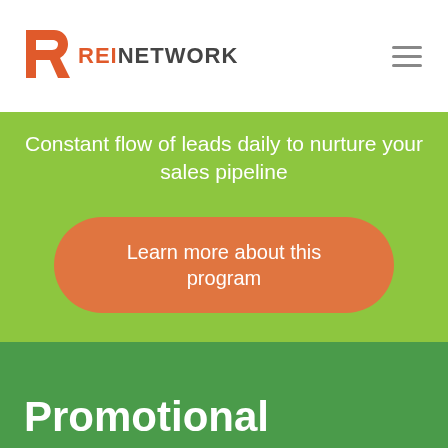[Figure (logo): REI Network logo with orange R shield icon and dark gray REINETWORK text, plus hamburger menu icon on the right]
Constant flow of leads daily to nurture your sales pipeline
Learn more about this program
Promotional